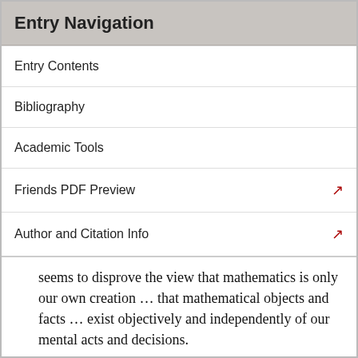Entry Navigation
Entry Contents
Bibliography
Academic Tools
Friends PDF Preview
Author and Citation Info
seems to disprove the view that mathematics is only our own creation … that mathematical objects and facts … exist objectively and independently of our mental acts and decisions.
Gödel was nonetheless inclined to deny the possibility of absolutely unsolvable problems, and although he did believe in mathematical Platonism, his reasons for this conviction were different, and he did not maintain that the incompleteness theorems alone establish Platonism. Thus Gödel believed in the first disjunct, that the human mind